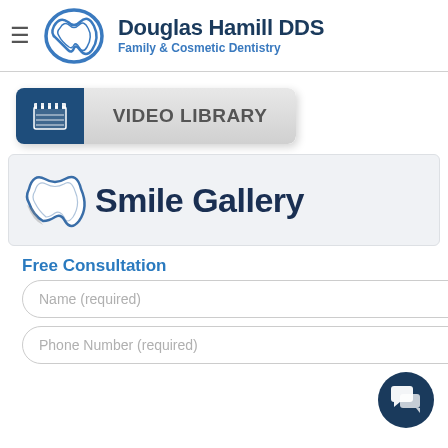[Figure (logo): Douglas Hamill DDS logo with tooth icon, name in dark navy bold, and 'Family & Cosmetic Dentistry' subtitle in blue]
[Figure (screenshot): VIDEO LIBRARY button with dark blue film clapper icon on left and gray label on right]
[Figure (logo): Smile Gallery logo with tooth icon and dark navy bold text]
Free Consultation
Name (required)
Phone Number (required)